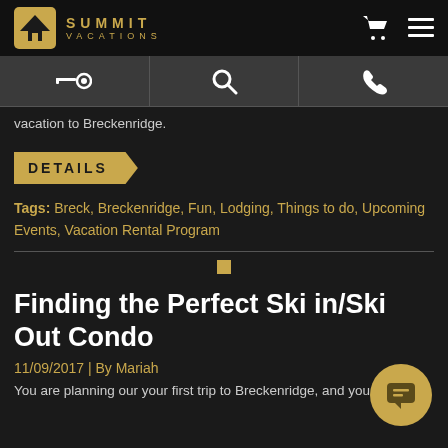SUMMIT VACATIONS
vacation to Breckenridge.
DETAILS
Tags: Breck, Breckenridge, Fun, Lodging, Things to do, Upcoming Events, Vacation Rental Program
Finding the Perfect Ski in/Ski Out Condo
11/09/2017 | By Mariah
You are planning our your first trip to Breckenridge, and you